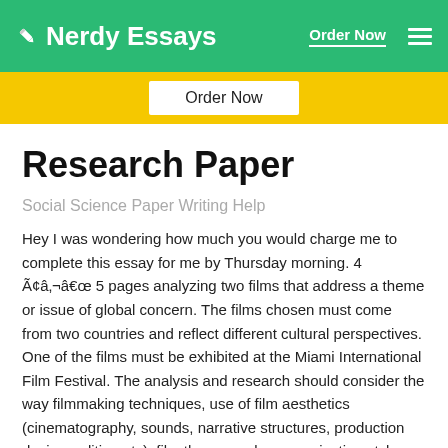Nerdy Essays  Order Now
Research Paper
Social Science Paper Writing Help
Hey I was wondering how much you would charge me to complete this essay for me by Thursday morning. 4 Ã¢â‚¬â€œ 5 pages analyzing two films that address a theme or issue of global concern. The films chosen must come from two countries and reflect different cultural perspectives. One of the films must be exhibited at the Miami International Film Festival. The analysis and research should consider the way filmmaking techniques, use of film aesthetics (cinematography, sounds, narrative structures, production design, editing etc), film theory, and communication styles used convey the theme or issue in context of global issues. Formal paper (third person), 4 research